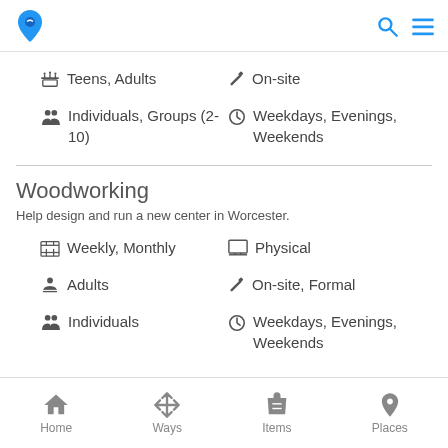App header with logo, search and menu icons
Teens, Adults
On-site
Individuals, Groups (2-10)
Weekdays, Evenings, Weekends
Woodworking
Help design and run a new center in Worcester.
Weekly, Monthly
Physical
Adults
On-site, Formal
Individuals
Weekdays, Evenings, Weekends
Home | Ways | Items | Places